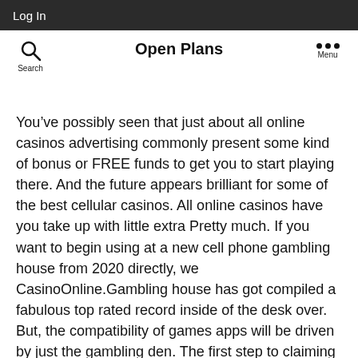Log In
Open Plans
You’ve possibly seen that just about all online casinos advertising commonly present some kind of bonus or FREE funds to get you to start playing there. And the future appears brilliant for some of the best cellular casinos. All online casinos have you take up with little extra Pretty much. If you want to begin using at a new cell phone gambling house from 2020 directly, we CasinoOnline.Gambling house has got compiled a fabulous top rated record inside of the desk over. But, the compatibility of games apps will be driven by just the gambling den. The first step to claiming an online casino